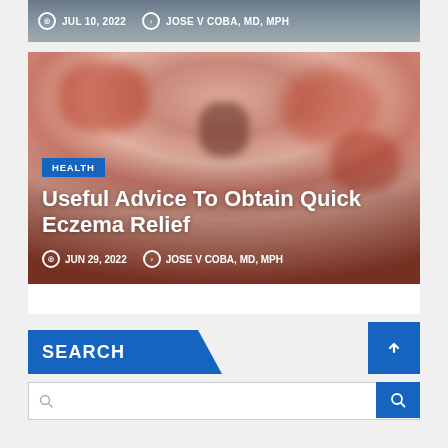[Figure (photo): Top strip showing patient image partially visible, with date JUL 10, 2022 and author JOSE V COBA, MD, MPH]
JUL 10, 2022   JOSE V COBA, MD, MPH
[Figure (photo): Close-up photo of a face with severe eczema/rash on skin, reddened and inflamed areas visible, with HEALTH badge overlay and article title]
Useful Advice To Obtain Quick Eczema Relief
JUN 29, 2022   JOSE V COBA, MD, MPH
SEARCH